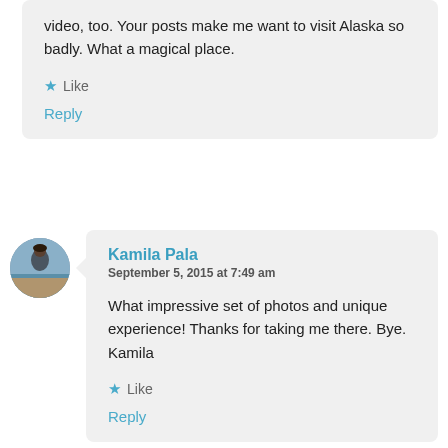video, too. Your posts make me want to visit Alaska so badly. What a magical place.
★ Like
Reply
[Figure (photo): Circular avatar photo of Kamila Pala, a person at a beach]
Kamila Pala
September 5, 2015 at 7:49 am
What impressive set of photos and unique experience! Thanks for taking me there. Bye. Kamila
★ Like
Reply